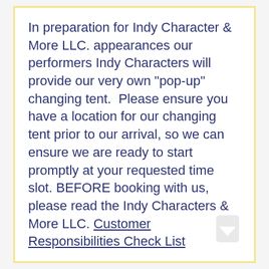In preparation for Indy Character & More LLC. appearances our performers Indy Characters will provide our very own "pop-up" changing tent. Please ensure you have a location for our changing tent prior to our arrival, so we can ensure we are ready to start promptly at your requested time slot. BEFORE booking with us, please read the Indy Characters & More LLC. Customer Responsibilities Check List